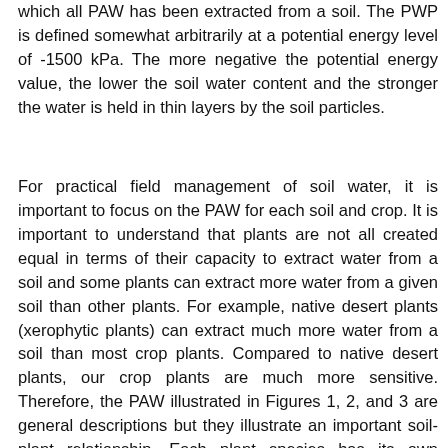which all PAW has been extracted from a soil. The PWP is defined somewhat arbitrarily at a potential energy level of -1500 kPa. The more negative the potential energy value, the lower the soil water content and the stronger the water is held in thin layers by the soil particles.
For practical field management of soil water, it is important to focus on the PAW for each soil and crop. It is important to understand that plants are not all created equal in terms of their capacity to extract water from a soil and some plants can extract more water from a given soil than other plants. For example, native desert plants (xerophytic plants) can extract much more water from a soil than most crop plants. Compared to native desert plants, our crop plants are much more sensitive. Therefore, the PAW illustrated in Figures 1, 2, and 3 are general descriptions but they illustrate an important soil-plant relationship. Each plant species has its own capacity to extract water from the soil and we